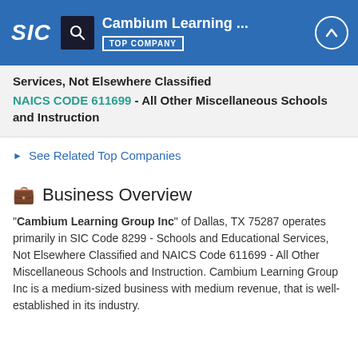SIC | Cambium Learning ... | TOP COMPANY
Services, Not Elsewhere Classified
NAICS CODE 611699 - All Other Miscellaneous Schools and Instruction
See Related Top Companies
Business Overview
"Cambium Learning Group Inc" of Dallas, TX 75287 operates primarily in SIC Code 8299 - Schools and Educational Services, Not Elsewhere Classified and NAICS Code 611699 - All Other Miscellaneous Schools and Instruction. Cambium Learning Group Inc is a medium-sized business with medium revenue, that is well-established in its industry.